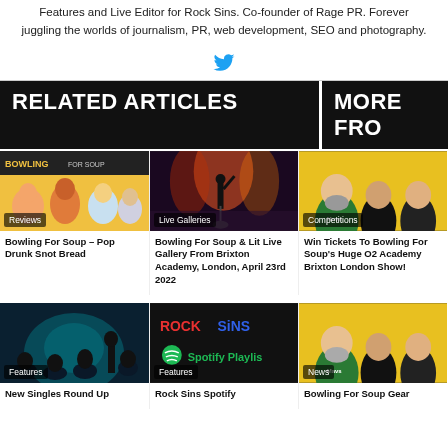Features and Live Editor for Rock Sins. Co-founder of Rage PR. Forever juggling the worlds of journalism, PR, web development, SEO and photography.
[Figure (illustration): Twitter bird icon]
RELATED ARTICLES
MORE FRO
[Figure (photo): Bowling For Soup – Pop Drunk Snot Bread album art with cartoon characters]
Reviews
Bowling For Soup – Pop Drunk Snot Bread
[Figure (photo): Live concert photo with performer on stage with lights and smoke]
Live Galleries
Bowling For Soup & Lit Live Gallery From Brixton Academy, London, April 23rd 2022
[Figure (photo): Bowling For Soup band members in green jerseys on yellow background]
Competitions
Win Tickets To Bowling For Soup's Huge O2 Academy Brixton London Show!
[Figure (photo): Band members sitting/standing in teal/blue lighting]
Features
New Singles Round Up
[Figure (photo): Rock Sins Spotify Playlist graphic with logo and Spotify branding]
Features
Rock Sins Spotify
[Figure (photo): Bowling For Soup members on yellow background same pose]
News
Bowling For Soup Gear